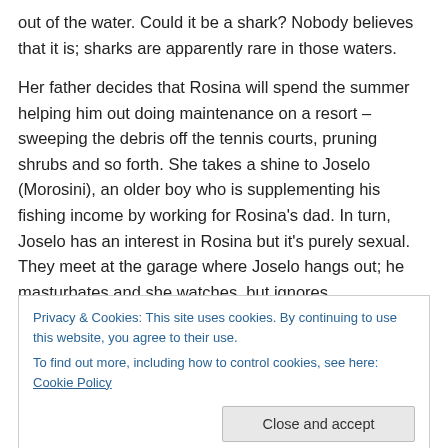out of the water. Could it be a shark? Nobody believes that it is; sharks are apparently rare in those waters.
Her father decides that Rosina will spend the summer helping him out doing maintenance on a resort – sweeping the debris off the tennis courts, pruning shrubs and so forth. She takes a shine to Joselo (Morosini), an older boy who is supplementing his fishing income by working for Rosina's dad. In turn, Joselo has an interest in Rosina but it's purely sexual. They meet at the garage where Joselo hangs out; he masturbates and she watches, but ignores
Privacy & Cookies: This site uses cookies. By continuing to use this website, you agree to their use.
To find out more, including how to control cookies, see here: Cookie Policy
on hanging out with his mates, playing soccer and trying to